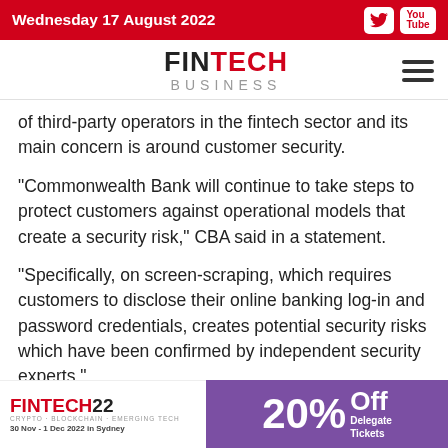Wednesday 17 August 2022
FINTECH BUSINESS
of third-party operators in the fintech sector and its main concern is around customer security.
“Commonwealth Bank will continue to take steps to protect customers against operational models that create a security risk,” CBA said in a statement.
“Specifically, on screen-scraping, which requires customers to disclose their online banking log-in and password credentials, creates potential security risks which have been confirmed by independent security experts.”
CBA added that it allows customers to access data in their o… a CSV file.
[Figure (infographic): FINTECH22 conference advertisement banner: 20% Off Delegate Tickets, 30 Nov - 1 Dec 2022 in Sydney]